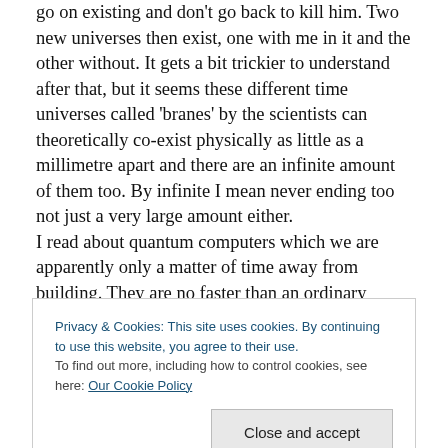go on existing and don't go back to kill him. Two new universes then exist, one with me in it and the other without. It gets a bit trickier to understand after that, but it seems these different time universes called 'branes' by the scientists can theoretically co-exist physically as little as a millimetre apart and there are an infinite amount of them too. By infinite I mean never ending too not just a very large amount either.
I read about quantum computers which we are apparently only a matter of time away from building. They are no faster than an ordinary computer but by using quantum
Privacy & Cookies: This site uses cookies. By continuing to use this website, you agree to their use.
To find out more, including how to control cookies, see here: Our Cookie Policy
you have a 10,000 number password protecting your files